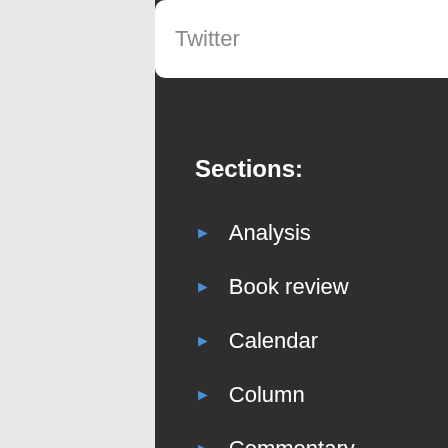Twitter
Sections:
Analysis
Book review
Calendar
Column
Commentary
Coronavirus
Editorials